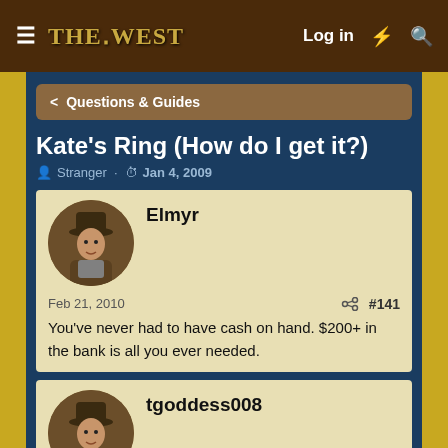THE WEST — Log in
Questions & Guides
Kate's Ring (How do I get it?)
Stranger · Jan 4, 2009
Elmyr
Feb 21, 2010  #141
You've never had to have cash on hand. $200+ in the bank is all you ever needed.
tgoddess008
Mar 11, 2010  #142